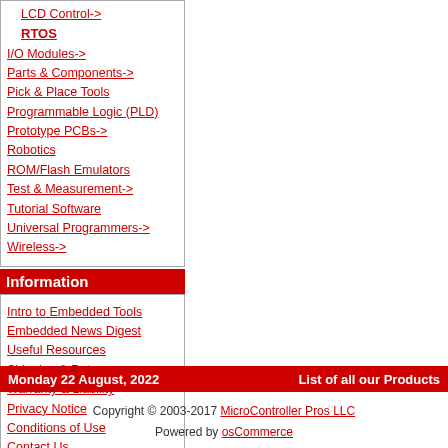LCD Control->
RTOS
I/O Modules->
Parts & Components->
Pick & Place Tools
Programmable Logic (PLD)
Prototype PCBs->
Robotics
ROM/Flash Emulators
Test & Measurement->
Tutorial Software
Universal Programmers->
Wireless->
Information
Intro to Embedded Tools
Embedded News Digest
Useful Resources
Shipping & Returns
Warranty & Liability
Privacy Notice
Conditions of Use
Contact Us
Monday 22 August, 2022    List of all our Products
Copyright © 2003-2017 MicroController Pros LLC
Powered by osCommerce